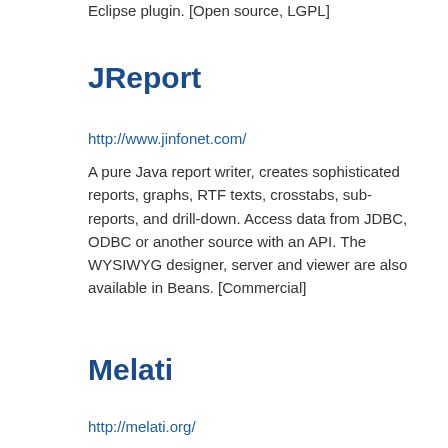Eclipse plugin. [Open source, LGPL]
JReport
http://www.jinfonet.com/
A pure Java report writer, creates sophisticated reports, graphs, RTF texts, crosstabs, sub-reports, and drill-down. Access data from JDBC, ODBC or another source with an API. The WYSIWYG designer, server and viewer are also available in Beans. [Commercial]
Melati
http://melati.org/